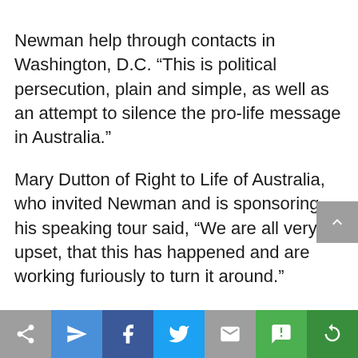Newman help through contacts in Washington, D.C. “This is political persecution, plain and simple, as well as an attempt to silence the pro-life message in Australia.” Mary Dutton of Right to Life of Australia, who invited Newman and is sponsoring his speaking tour said, “We are all very upset, that this has happened and are working furiously to turn it around.” Newman has booked another ticket